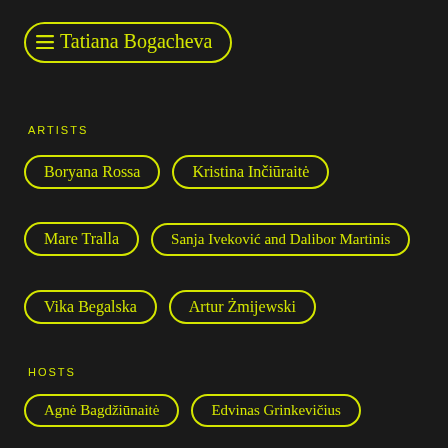Tatiana Bogacheva
ARTISTS
Boryana Rossa
Kristina Inčiūraitė
Mare Tralla
Sanja Iveković and Dalibor Martinis
Vika Begalska
Artur Żmijewski
HOSTS
Agnė Bagdžiūnaitė
Edvinas Grinkevičius